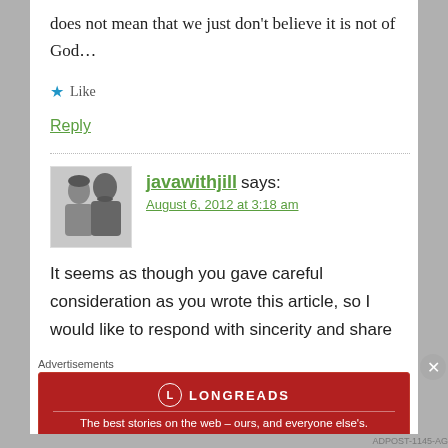does not mean that we just don't believe it is not of God…
★ Like
Reply
javawithjill says:
August 6, 2012 at 3:18 am
It seems as though you gave careful consideration as you wrote this article, so I would like to respond with sincerity and share
[Figure (photo): Black and white photo of a man and woman together, used as commenter avatar]
Advertisements
[Figure (infographic): Longreads advertisement banner in red: 'The best stories on the web – ours, and everyone else's.']